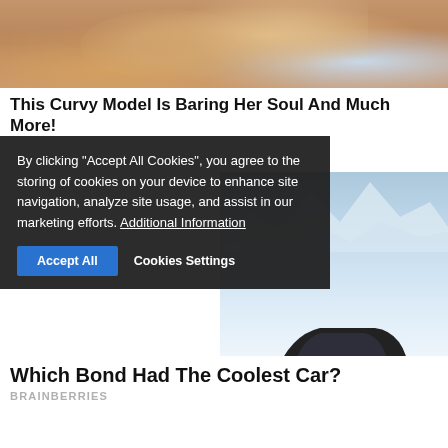[Figure (photo): Cropped photo of a woman in a teal/turquoise bikini top, torso visible]
This Curvy Model Is Baring Her Soul And Much More!
By clicking "Accept All Cookies", you agree to the storing of cookies on your device to enhance site navigation, analyze site usage, and assist in our marketing efforts. Additional Information
[Figure (photo): A dark-colored classic Aston Martin car (license plate B549 WUU) in a snowy winter setting]
Which Bond Had The Coolest Car?
BRAINBERRIES